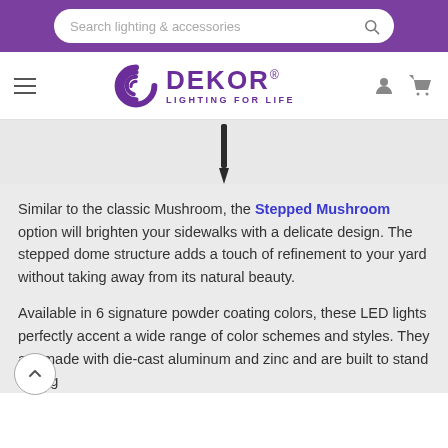Search lighting & accessories
[Figure (logo): DEKOR Lighting For Life logo with purple swirl icon and hamburger menu, user icon, and cart icon in navigation header]
[Figure (photo): Bottom portion of a Stepped Mushroom LED light fixture showing the stake/post against a white background]
Similar to the classic Mushroom, the Stepped Mushroom option will brighten your sidewalks with a delicate design. The stepped dome structure adds a touch of refinement to your yard without taking away from its natural beauty.
Available in 6 signature powder coating colors, these LED lights perfectly accent a wide range of color schemes and styles. They are made with die-cast aluminum and zinc and are built to stand strong